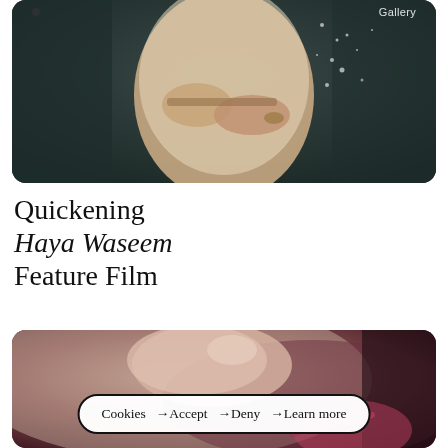[Figure (photo): A person in a lace or textured light-colored dress, photographed from mid-body, hands visible, dark background]
Quickening
Haya Waseem
Feature Film
[Figure (photo): Close-up blurred photo of fingers/hand holding something, dark warm tones, with a cookies consent bar overlaid]
Cookies →Accept →Deny →Learn more